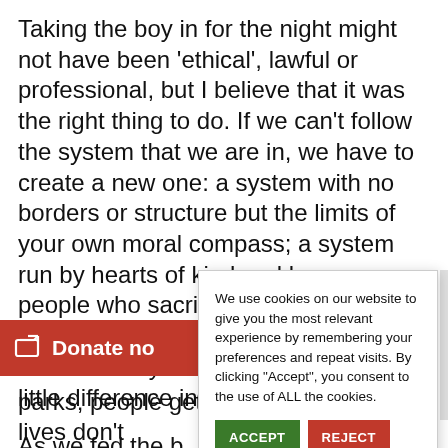Taking the boy in for the night might not have been 'ethical', lawful or professional, but I believe that it was the right thing to do. If we can't follow the system that we are in, we have to create a new one: a system with no borders or structure but the limits of your own moral compass; a system run by hearts of kind and brave people who sacrifice their lives, put themselves in danger, do things that are not always legal, just to make a little difference in someone else's life.
As we fed the b[oy who had been] rejected him, I r[emember thinking] from having a w[arm meal...] decision to go t[o...] to be pivotal in [...]
[Figure (screenshot): Cookie consent modal dialog with text: 'We use cookies on our website to give you the most relevant experience by remembering your preferences and repeat visits. By clicking "Accept", you consent to the use of ALL the cookies.' with ACCEPT (green) and REJECT (red) buttons, and a 'Cookie settings' underlined link.]
Donate no[w]
parks, people getting treated like their lives don't